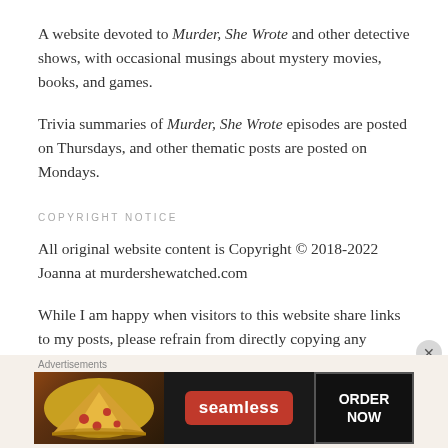A website devoted to Murder, She Wrote and other detective shows, with occasional musings about mystery movies, books, and games.
Trivia summaries of Murder, She Wrote episodes are posted on Thursdays, and other thematic posts are posted on Mondays.
COPYRIGHT NOTICE
All original website content is Copyright © 2018-2022 Joanna at murdershewatched.com
While I am happy when visitors to this website share links to my posts, please refrain from directly copying any original content you see here (even in translation). I
Advertisements
[Figure (photo): Seamless food delivery advertisement banner showing pizza slices on the left, a red Seamless logo badge in the center, and an ORDER NOW button on the right against a dark background.]